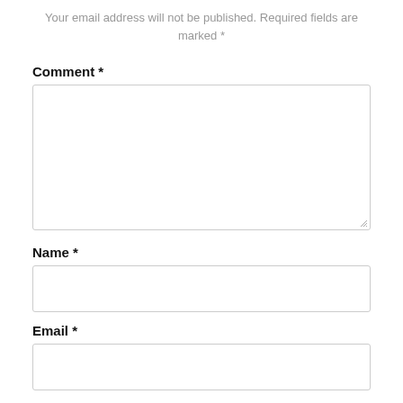Your email address will not be published. Required fields are marked *
Comment *
[Figure (other): Empty textarea input box for comment field with resize handle]
Name *
[Figure (other): Empty single-line text input box for name field]
Email *
[Figure (other): Empty single-line text input box for email field]
Website